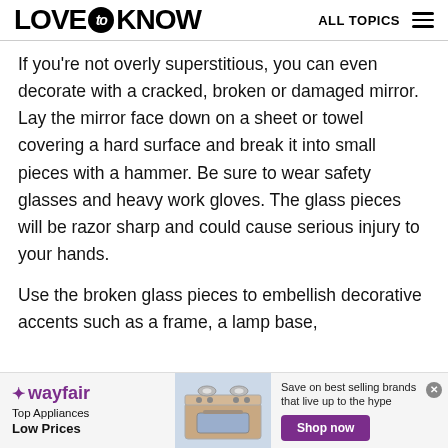LOVE to KNOW   ALL TOPICS
If you're not overly superstitious, you can even decorate with a cracked, broken or damaged mirror. Lay the mirror face down on a sheet or towel covering a hard surface and break it into small pieces with a hammer. Be sure to wear safety glasses and heavy work gloves. The glass pieces will be razor sharp and could cause serious injury to your hands.
Use the broken glass pieces to embellish decorative accents such as a frame, a lamp base,
[Figure (infographic): Wayfair advertisement banner showing logo, Top Appliances Low Prices text, stove image, Save on best selling brands that live up to the hype, and Shop now button]